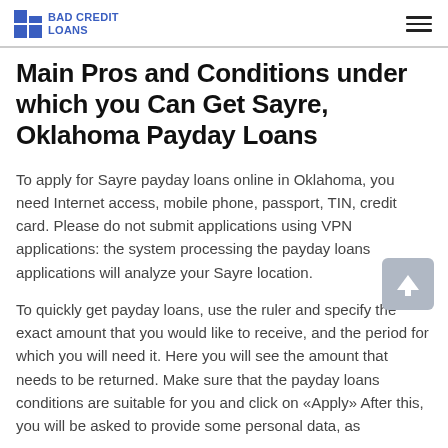BAD CREDIT LOANS
Main Pros and Conditions under which you Can Get Sayre, Oklahoma Payday Loans
To apply for Sayre payday loans online in Oklahoma, you need Internet access, mobile phone, passport, TIN, credit card. Please do not submit applications using VPN applications: the system processing the payday loans applications will analyze your Sayre location.
To quickly get payday loans, use the ruler and specify the exact amount that you would like to receive, and the period for which you will need it. Here you will see the amount that needs to be returned. Make sure that the payday loans conditions are suitable for you and click on «Apply» After this, you will be asked to provide some personal data, as